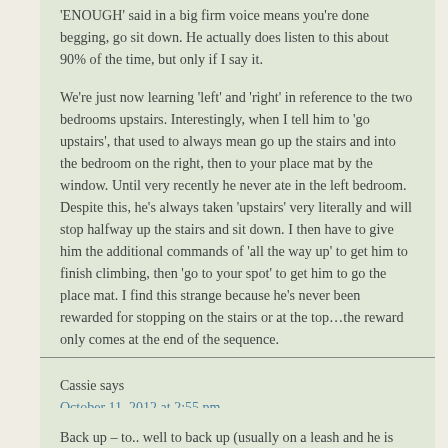'ENOUGH' said in a big firm voice means you're done begging, go sit down. He actually does listen to this about 90% of the time, but only if I say it.
We're just now learning 'left' and 'right' in reference to the two bedrooms upstairs. Interestingly, when I tell him to 'go upstairs', that used to always mean go up the stairs and into the bedroom on the right, then to your place mat by the window. Until very recently he never ate in the left bedroom. Despite this, he's always taken 'upstairs' very literally and will stop halfway up the stairs and sit down. I then have to give him the additional commands of 'all the way up' to get him to finish climbing, then 'go to your spot' to get him to go the place mat. I find this strange because he's never been rewarded for stopping on the stairs or at the top…the reward only comes at the end of the sequence.
Cassie says
October 11, 2012 at 2:55 pm
Back up – to.. well to back up (usually on a leash and he is